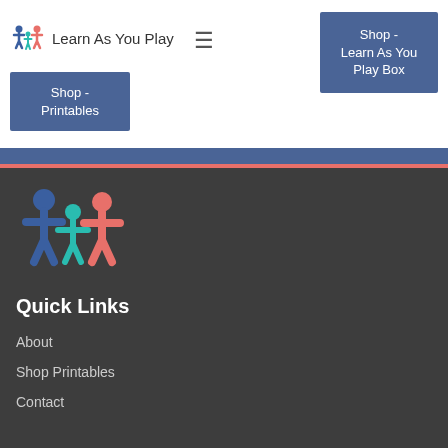Learn As You Play
Shop - Learn As You Play Box
Shop - Printables
[Figure (logo): Learn As You Play logo with three stylized figures in blue, teal, and red/pink]
Quick Links
About
Shop Printables
Contact